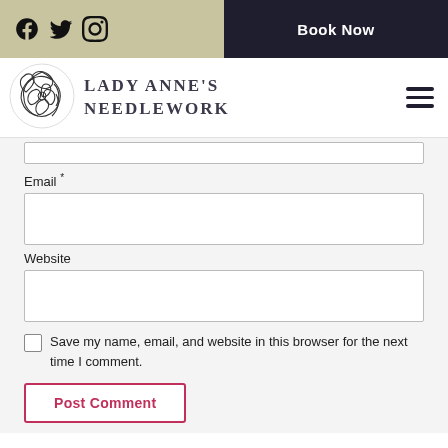Lady Anne's Needlework — Book Now
Email *
Website
Save my name, email, and website in this browser for the next time I comment.
Post Comment